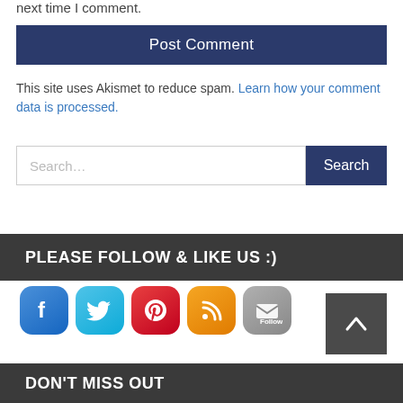next time I comment.
Post Comment
This site uses Akismet to reduce spam. Learn how your comment data is processed.
Search...
Search
PLEASE FOLLOW & LIKE US :)
[Figure (infographic): Social media icons: Facebook, Twitter, Pinterest, RSS, Follow (email)]
[Figure (other): Back to top button with upward chevron arrow]
DON'T MISS OUT